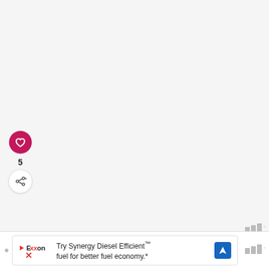[Figure (screenshot): Webpage screenshot showing social interaction buttons (heart/like button with count 5, share button), a 'What's Next' recommendation bar with thumbnail, weather widget icon, and an Exxon advertisement banner at the bottom reading 'Try Synergy Diesel Efficient™ fuel for better fuel economy.*']
5
WHAT'S NEXT →
11+ Printable Thanksgivin...
Try Synergy Diesel Efficient™ fuel for better fuel economy.*